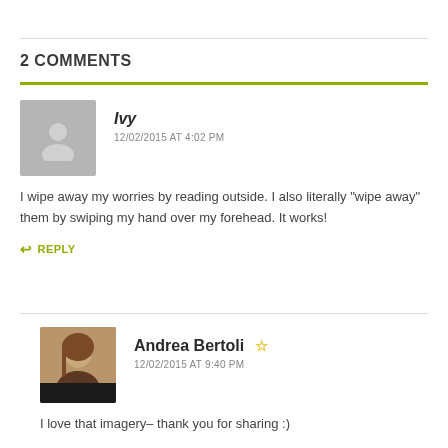2 Comments
[Figure (illustration): Default user avatar silhouette in gray]
Ivy
12/02/2015 AT 4:02 PM
I wipe away my worries by reading outside. I also literally “wipe away” them by swiping my hand over my forehead. It works!
REPLY
[Figure (photo): Photo of Andrea Bertoli, a woman with long brown hair]
Andrea Bertoli ☆
12/02/2015 AT 9:40 PM
I love that imagery– thank you for sharing :)